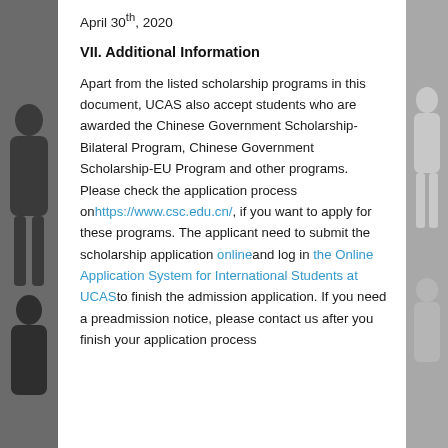April 30th, 2020
VII. Additional Information
Apart from the listed scholarship programs in this document, UCAS also accept students who are awarded the Chinese Government Scholarship-Bilateral Program, Chinese Government Scholarship-EU Program and other programs. Please check the application process on https://www.csc.edu.cn/, if you want to apply for these programs. The applicant need to submit the scholarship application online and log in the Online Application System for International Students at UCAS to finish the admission application. If you need a preadmission notice, please contact us after you finish your application process